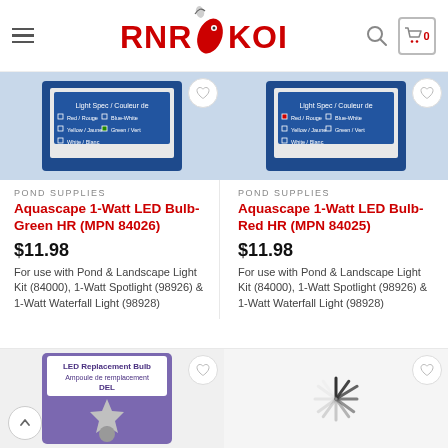RNR KOI
POND SUPPLIES
Aquascape 1-Watt LED Bulb-Green HR (MPN 84026)
$11.98
For use with Pond & Landscape Light Kit (84000), 1-Watt Spotlight (98926) & 1-Watt Waterfall Light (98928)
POND SUPPLIES
Aquascape 1-Watt LED Bulb-Red HR (MPN 84025)
$11.98
For use with Pond & Landscape Light Kit (84000), 1-Watt Spotlight (98926) & 1-Watt Waterfall Light (98928)
[Figure (photo): LED Replacement Bulb product in packaging]
[Figure (other): Loading spinner icon]